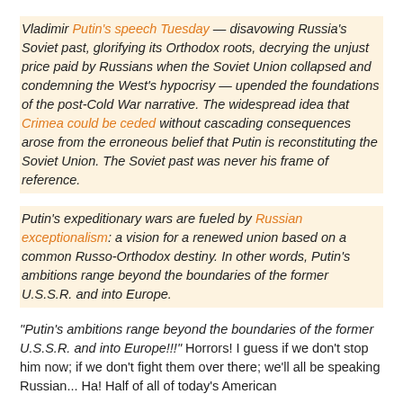Vladimir Putin's speech Tuesday — disavowing Russia's Soviet past, glorifying its Orthodox roots, decrying the unjust price paid by Russians when the Soviet Union collapsed and condemning the West's hypocrisy — upended the foundations of the post-Cold War narrative. The widespread idea that Crimea could be ceded without cascading consequences arose from the erroneous belief that Putin is reconstituting the Soviet Union. The Soviet past was never his frame of reference.
Putin's expeditionary wars are fueled by Russian exceptionalism: a vision for a renewed union based on a common Russo-Orthodox destiny. In other words, Putin's ambitions range beyond the boundaries of the former U.S.S.R. and into Europe.
"Putin's ambitions range beyond the boundaries of the former U.S.S.R. and into Europe!!!" Horrors! I guess if we don't stop him now; if we don't fight them over there; we'll all be speaking Russian... Ha! Half of all of today's American